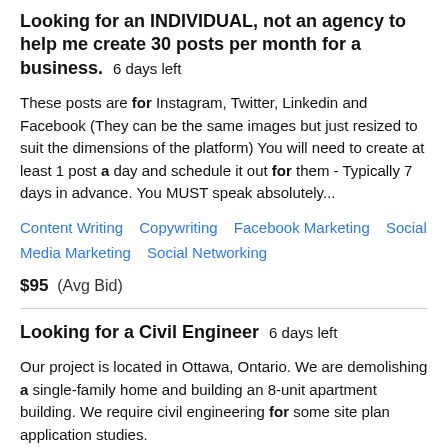Looking for an INDIVIDUAL, not an agency to help me create 30 posts per month for a business.  6 days left
These posts are for Instagram, Twitter, Linkedin and Facebook (They can be the same images but just resized to suit the dimensions of the platform) You will need to create at least 1 post a day and schedule it out for them - Typically 7 days in advance. You MUST speak absolutely...
Content Writing   Copywriting   Facebook Marketing   Social Media Marketing   Social Networking
$95  (Avg Bid)
Looking for a Civil Engineer  6 days left
Our project is located in Ottawa, Ontario. We are demolishing a single-family home and building an 8-unit apartment building. We require civil engineering for some site plan application studies.
AutoCAD   Building Architecture   CAD/CAM   Civil